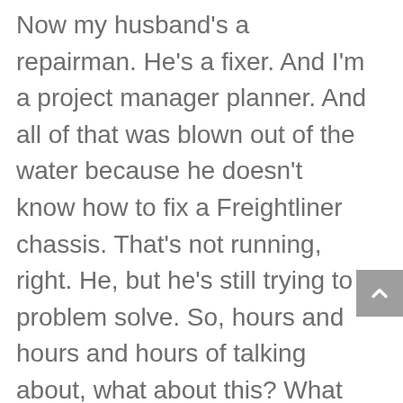Now my husband's a repairman. He's a fixer. And I'm a project manager planner. And all of that was blown out of the water because he doesn't know how to fix a Freightliner chassis. That's not running, right. He, but he's still trying to problem solve. So, hours and hours and hours of talking about, what about this? What about this? It was mind-numbing. And me, I'm going oh, well, we haven't left yet. Oh, I better cancel. And so everything we'd spent months planning unraveled. I think the pandemic prepared me for that, though, right. It's like, okay, get your hopes up. And they're dashed again. But it wasn't because of the